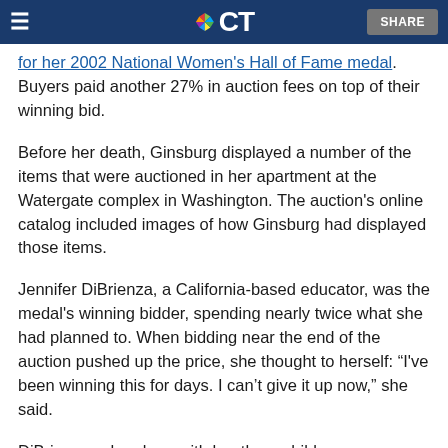≡  NBC CT  SHARE
for her 2002 National Women's Hall of Fame medal. Buyers paid another 27% in auction fees on top of their winning bid.
Before her death, Ginsburg displayed a number of the items that were auctioned in her apartment at the Watergate complex in Washington. The auction's online catalog included images of how Ginsburg had displayed those items.
Jennifer DiBrienza, a California-based educator, was the medal's winning bidder, spending nearly twice what she had planned to. When bidding near the end of the auction pushed up the price, she thought to herself: "I've been winning this for days. I can't give it up now," she said.
DiBrienza, who along with her three children demonstrated